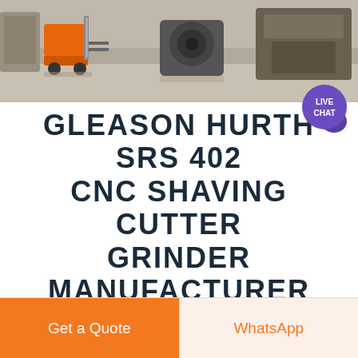[Figure (photo): Aerial/overhead photo of construction or industrial machinery yard showing a forklift (orange) and heavy equipment on a concrete surface]
GLEASON HURTH SRS 402 CNC SHAVING CUTTER GRINDER MANUFACTURER
Manufacturer of Gleason Hurth Srs 402 CNC Shaving Cutter Grinder offered by Acutec Machining Solutions Patiala Punjab